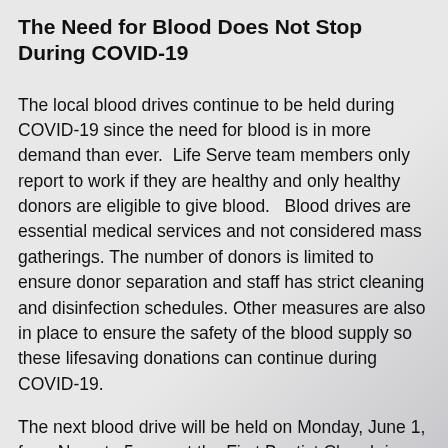The Need for Blood Does Not Stop During COVID-19
The local blood drives continue to be held during COVID-19 since the need for blood is in more demand than ever.  Life Serve team members only report to work if they are healthy and only healthy donors are eligible to give blood.   Blood drives are essential medical services and not considered mass gatherings. The number of donors is limited to ensure donor separation and staff has strict cleaning and disinfection schedules. Other measures are also in place to ensure the safety of the blood supply so these lifesaving donations can continue during COVID-19.
The next blood drive will be held on Monday, June 1, from Noon to 5 p.m. at the First Baptist Church in